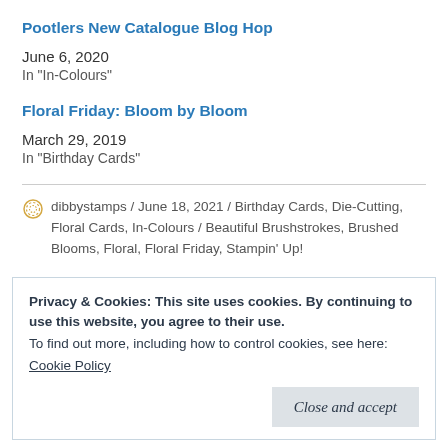Pootlers New Catalogue Blog Hop
June 6, 2020
In "In-Colours"
Floral Friday: Bloom by Bloom
March 29, 2019
In "Birthday Cards"
dibbystamps / June 18, 2021 / Birthday Cards, Die-Cutting, Floral Cards, In-Colours / Beautiful Brushstrokes, Brushed Blooms, Floral, Floral Friday, Stampin' Up!
Privacy & Cookies: This site uses cookies. By continuing to use this website, you agree to their use.
To find out more, including how to control cookies, see here:
Cookie Policy
Close and accept